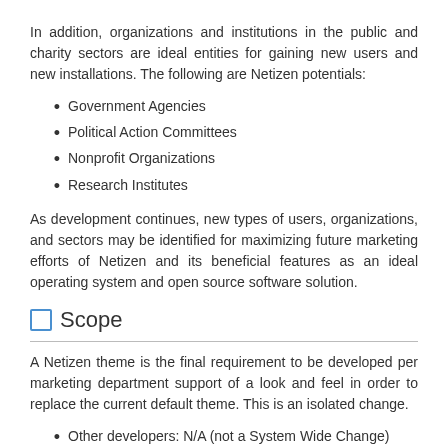In addition, organizations and institutions in the public and charity sectors are ideal entities for gaining new users and new installations. The following are Netizen potentials:
Government Agencies
Political Action Committees
Nonprofit Organizations
Research Institutes
As development continues, new types of users, organizations, and sectors may be identified for maximizing future marketing efforts of Netizen and its beneficial features as an ideal operating system and open source software solution.
Scope
A Netizen theme is the final requirement to be developed per marketing department support of a look and feel in order to replace the current default theme. This is an isolated change.
Other developers: N/A (not a System Wide Change)